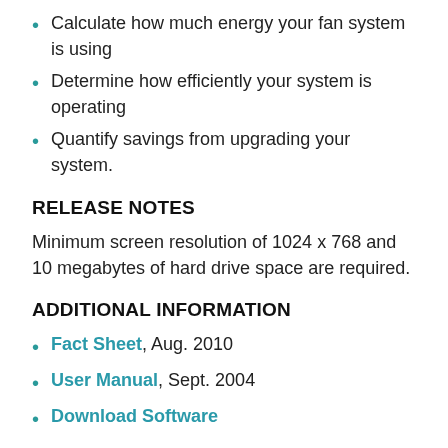Calculate how much energy your fan system is using
Determine how efficiently your system is operating
Quantify savings from upgrading your system.
RELEASE NOTES
Minimum screen resolution of 1024 x 768 and 10 megabytes of hard drive space are required.
ADDITIONAL INFORMATION
Fact Sheet, Aug. 2010
User Manual, Sept. 2004
Download Software